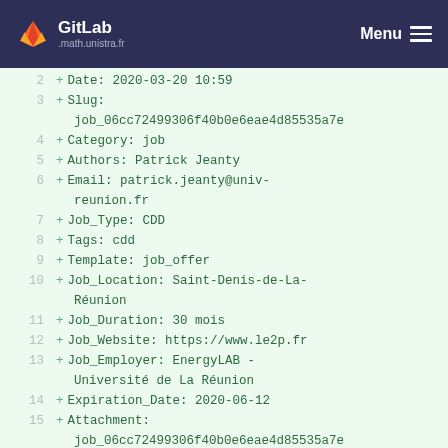GitLab .math.unistra.fr  Menu
2  + Date: 2020-03-20 10:59
3  + Slug:
     job_06cc72499306f40b0e6eae4d85535a7e
4  + Category: job
5  + Authors: Patrick Jeanty
6  + Email: patrick.jeanty@univ-reunion.fr
7  + Job_Type: CDD
8  + Tags: cdd
9  + Template: job_offer
10 + Job_Location: Saint-Denis-de-La-Réunion
11 + Job_Duration: 30 mois
12 + Job_Website: https://www.le2p.fr
13 + Job_Employer: EnergyLAB - Université de La Réunion
14 + Expiration_Date: 2020-06-12
15 + Attachment:
     job_06cc72499306f40b0e6eae4d85535a7e_attachment.pdf